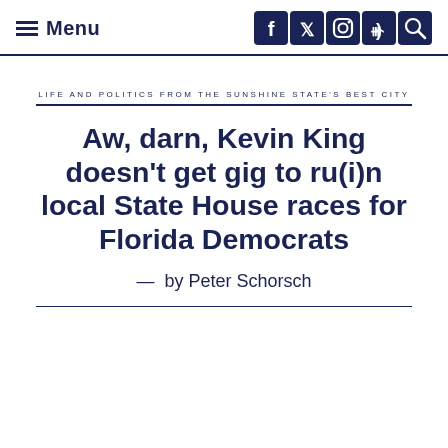Menu | social icons: Facebook, Twitter, Instagram, RSS, Search
LIFE AND POLITICS FROM THE SUNSHINE STATE'S BEST CITY
Aw, darn, Kevin King doesn't get gig to ru(i)n local State House races for Florida Democrats
— by Peter Schorsch